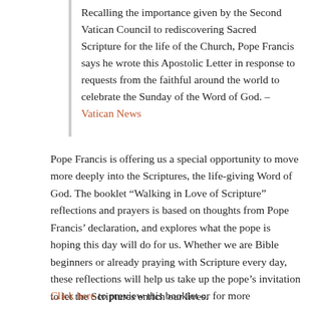Recalling the importance given by the Second Vatican Council to rediscovering Sacred Scripture for the life of the Church, Pope Francis says he wrote this Apostolic Letter in response to requests from the faithful around the world to celebrate the Sunday of the Word of God. – Vatican News
Pope Francis is offering us a special opportunity to move more deeply into the Scriptures, the life-giving Word of God. The booklet “Walking in Love of Scripture” reflections and prayers is based on thoughts from Pope Francis’ declaration, and explores what the pope is hoping this day will do for us. Whether we are Bible beginners or already praying with Scripture every day, these reflections will help us take up the pope’s invitation to let the Scriptures enrich our lives.
Click here to preview this booklet or for more